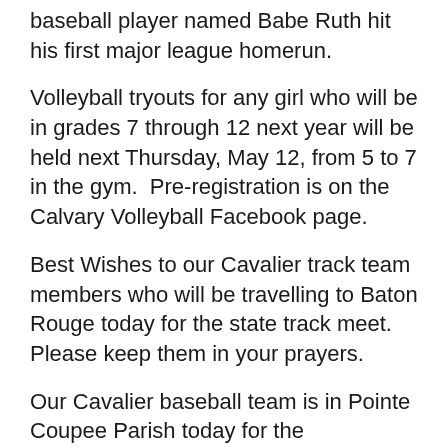baseball player named Babe Ruth hit his first major league homerun.
Volleyball tryouts for any girl who will be in grades 7 through 12 next year will be held next Thursday, May 12, from 5 to 7 in the gym.  Pre-registration is on the Calvary Volleyball Facebook page.
Best Wishes to our Cavalier track team members who will be travelling to Baton Rouge today for the state track meet.  Please keep them in your prayers.
Our Cavalier baseball team is in Pointe Coupee Parish today for the quarterfinal round of the state baseball playoff.  The second game of the best-of-three game series will be this afternoon at 4:00.  Please keep the team in your prayers today.
Our seniors are in Texas at the Piney Woods Retreat today.  Please keep them in your prayers, also.